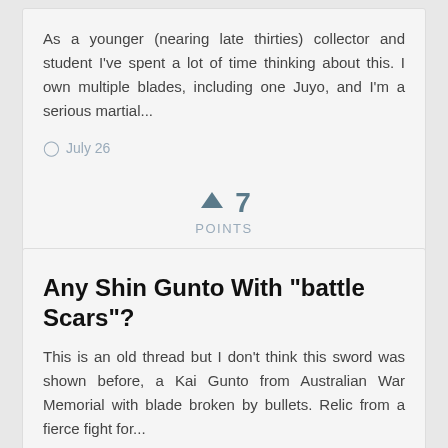As a younger (nearing late thirties) collector and student I've spent a lot of time thinking about this. I own multiple blades, including one Juyo, and I'm a serious martial...
July 26
↑ 7
POINTS
Any Shin Gunto With "battle Scars"?
This is an old thread but I don't think this sword was shown before, a Kai Gunto from Australian War Memorial with blade broken by bullets. Relic from a fierce fight for...
[Figure (photo): Partial photo of a Japanese Kai Gunto (sword) with handle visible against a white background]